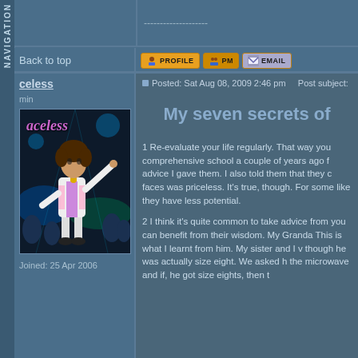--------------------
Back to top
[Figure (other): Forum buttons: PROFILE, PM, EMAIL]
celess
min
[Figure (illustration): Avatar image of a cartoon disco character labeled 'aceless' in purple text on a nightclub background]
Joined: 25 Apr 2006
Posted: Sat Aug 08, 2009 2:46 pm    Post subject:
My seven secrets of
1 Re-evaluate your life regularly. That way you comprehensive school a couple of years ago f advice I gave them. I also told them that they c faces was priceless. It's true, though. For some like they have less potential.

2 I think it's quite common to take advice from you can benefit from their wisdom. My Granda This is what I learnt from him. My sister and I v though he was actually size eight. We asked h the microwave and if, he got size eights, then t